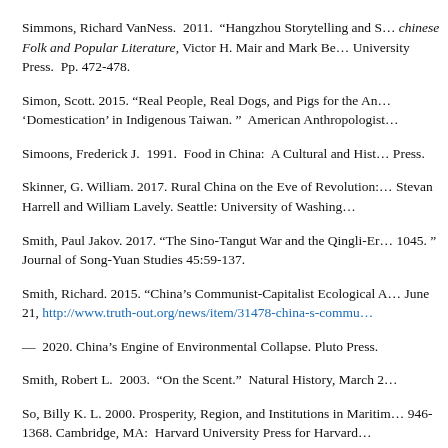Simmons, Richard VanNess.  2011.  "Hangzhou Storytelling and S... chinese Folk and Popular Literature, Victor H. Mair and Mark Be... University Press.  Pp. 472-478.
Simon, Scott. 2015. "Real People, Real Dogs, and Pigs for the An... 'Domestication' in Indigenous Taiwan. "  American Anthropologist...
Simoons, Frederick J.  1991.  Food in China:  A Cultural and Hist... Press.
Skinner, G. William. 2017. Rural China on the Eve of Revolution: ... Stevan Harrell and William Lavely. Seattle: University of Washing...
Smith, Paul Jakov. 2017. "The Sino-Tangut War and the Qingli-Er... 1045. "  Journal of Song-Yuan Studies 45:59-137.
Smith, Richard. 2015. "China's Communist-Capitalist Ecological A... June 21, http://www.truth-out.org/news/item/31478-china-s-commu...
—  2020. China's Engine of Environmental Collapse. Pluto Press.
Smith, Robert L.  2003.  "On the Scent."  Natural History, March 2...
So, Billy K. L. 2000. Prosperity, Region, and Institutions in Maritim... 946-1368. Cambridge, MA:  Harvard University Press for Harvard...